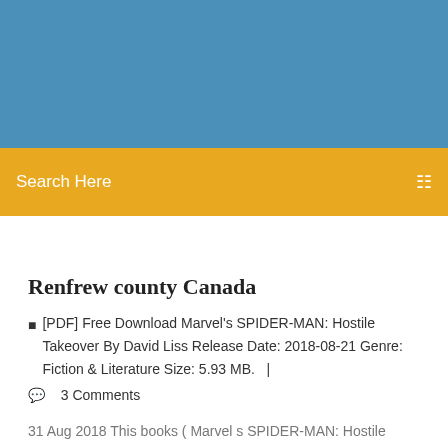[Figure (other): Blue header banner area]
Search Here
Renfrew county Canada
[PDF] Free Download Marvel's SPIDER-MAN: Hostile Takeover By David Liss Release Date: 2018-08-21 Genre: Fiction & Literature Size: 5.93 MB.   |
3 Comments
31 Aug 2018 This books ( Marvel s SPIDER-MAN: Hostile